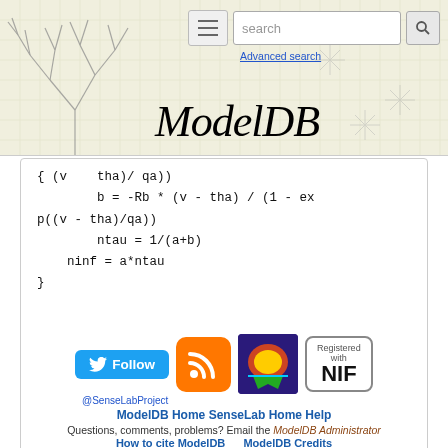ModelDB — Advanced search
[Figure (illustration): Twitter Follow button with @SenseLabProject handle, RSS feed icon, SenseLab brain icon, and Registered with NIF badge]
ModelDB Home  SenseLab Home  Help
Questions, comments, problems? Email the ModelDB Administrator
How to cite ModelDB    ModelDB Credits
© This site is Copyright @1998-2022 Shepherd Lab, Yale University